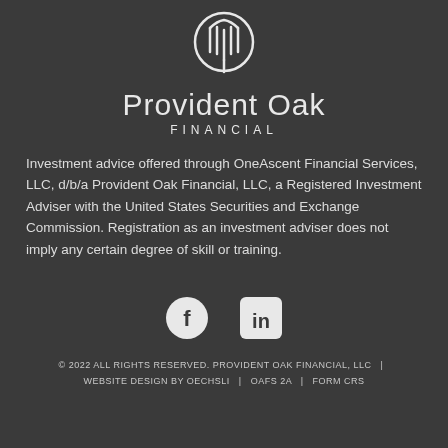[Figure (logo): Provident Oak Financial logo — a circular emblem with a stylized oak/wheat symbol in white on dark background, above the brand name]
Provident Oak Financial
Investment advice offered through OneAscent Financial Services, LLC, d/b/a Provident Oak Financial, LLC, a Registered Investment Adviser with the United States Securities and Exchange Commission. Registration as an investment adviser does not imply any certain degree of skill or training.
[Figure (infographic): Social media icons: Facebook (circle with f) and LinkedIn (square with in)]
© 2022 ALL RIGHTS RESERVED. PROVIDENT OAK FINANCIAL, LLC | WEBSITE DESIGN BY OECHSLI | OAFS 2A | FORM CRS